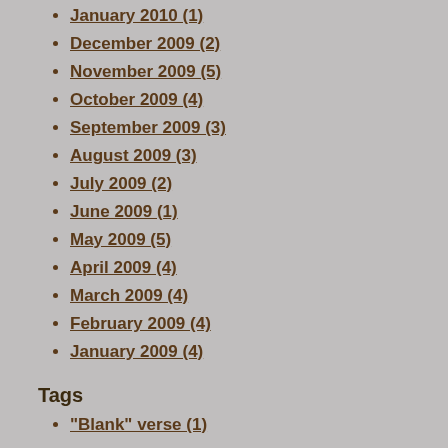January 2010 (1)
December 2009 (2)
November 2009 (5)
October 2009 (4)
September 2009 (3)
August 2009 (3)
July 2009 (2)
June 2009 (1)
May 2009 (5)
April 2009 (4)
March 2009 (4)
February 2009 (4)
January 2009 (4)
Tags
"Blank" verse (1)